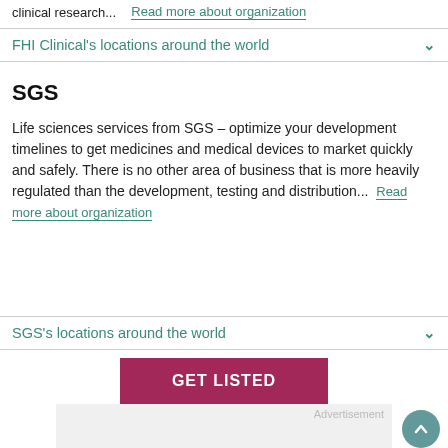clinical research...   Read more about organization
FHI Clinical's locations around the world
SGS
Life sciences services from SGS – optimize your development timelines to get medicines and medical devices to market quickly and safely. There is no other area of business that is more heavily regulated than the development, testing and distribution...   Read more about organization
SGS's locations around the world
GET LISTED
Advertisement